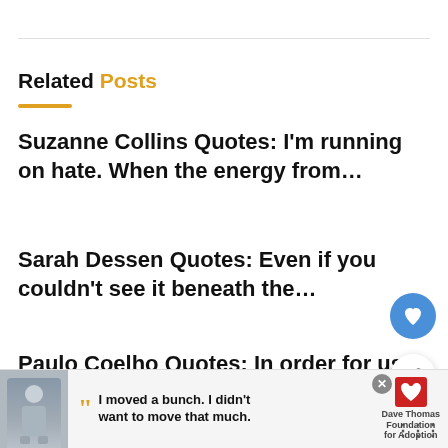Related Posts
Suzanne Collins Quotes: I'm running on hate. When the energy from...
Sarah Dessen Quotes: Even if you couldn't see it beneath the...
Paulo Coelho Quotes: In order for us to liberate the energy...
Philip Pullman Quotes: She felt a nausea of the so...
[Figure (other): Advertisement banner with a boy's photo and text 'I moved a bunch. I didn't want to move that much.' with Dave Thomas Foundation for Adoption logo]